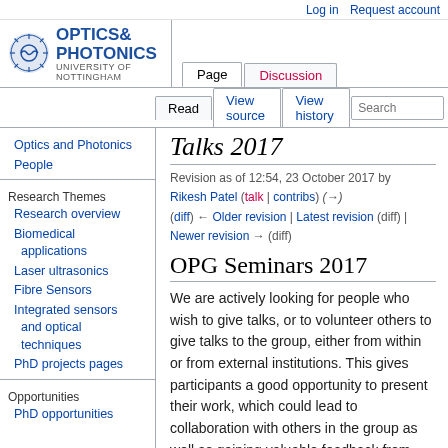Log in   Request account
[Figure (logo): Optics and Photonics University of Nottingham logo with circular gear/wave icon]
Page  Discussion  Read  View source  View history  Search
Talks 2017 (partial, cropped)
Revision as of 12:54, 23 October 2017 by Rikesh Patel (talk | contribs) (→) (diff) ← Older revision | Latest revision (diff) | Newer revision → (diff)
OPG Seminars 2017
Optics and Photonics
People
Research Themes
Research overview
Biomedical applications
Laser ultrasonics
Fibre Sensors
Integrated sensors and optical techniques
PhD projects pages
Opportunities
PhD opportunities
We are actively looking for people who wish to give talks, or to volunteer others to give talks to the group, either from within or from external institutions. This gives participants a good opportunity to present their work, which could lead to collaboration with others in the group as well as gaining valuable feedback from members.